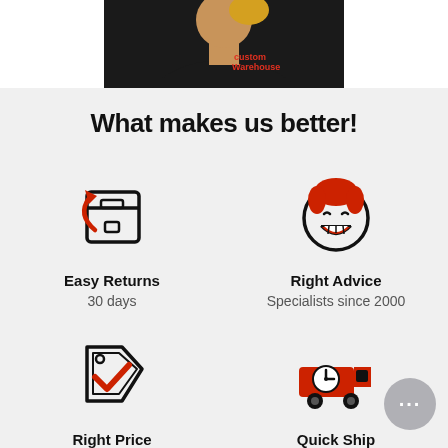[Figure (photo): Top portion of a person wearing a black shirt with a logo, cropped at chest/shoulder level]
What makes us better!
[Figure (illustration): Icon of a box with a return arrow (Easy Returns icon)]
Easy Returns
30 days
[Figure (illustration): Icon of a smiling face with red hair (Right Advice icon)]
Right Advice
Specialists since 2000
[Figure (illustration): Icon of a price tag with a red checkmark (Right Price icon)]
Right Price
10,000+ products
[Figure (illustration): Icon of a red delivery truck with a clock (Quick Ship icon)]
Quick Ship
Dispatch within 24hrs